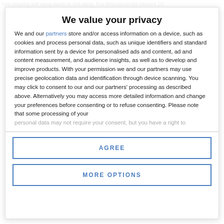him playing left wing-back or left wing. For Blackburn he played 10
We value your privacy
We and our partners store and/or access information on a device, such as cookies and process personal data, such as unique identifiers and standard information sent by a device for personalised ads and content, ad and content measurement, and audience insights, as well as to develop and improve products. With your permission we and our partners may use precise geolocation data and identification through device scanning. You may click to consent to our and our partners' processing as described above. Alternatively you may access more detailed information and change your preferences before consenting or to refuse consenting. Please note that some processing of your
personal data may not require your consent, but you have a right to
AGREE
MORE OPTIONS